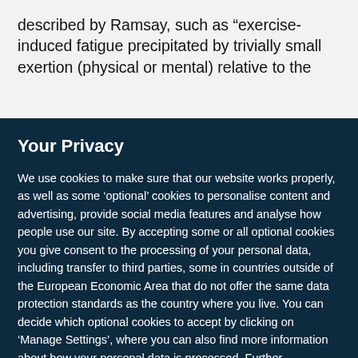described by Ramsay, such as “exercise-induced fatigue precipitated by trivially small exertion (physical or mental) relative to the
Your Privacy
We use cookies to make sure that our website works properly, as well as some ‘optional’ cookies to personalise content and advertising, provide social media features and analyse how people use our site. By accepting some or all optional cookies you give consent to the processing of your personal data, including transfer to third parties, some in countries outside of the European Economic Area that do not offer the same data protection standards as the country where you live. You can decide which optional cookies to accept by clicking on ‘Manage Settings’, where you can also find more information about how your personal data is processed. Further information can be found in our privacy policy.
Accept all cookies
Manage preferences